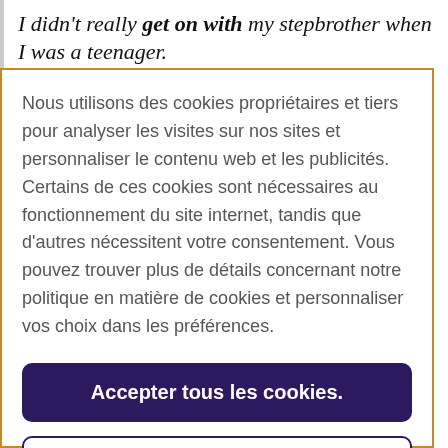I didn't really get on with my stepbrother when I was a teenager.
Nous utilisons des cookies propriétaires et tiers pour analyser les visites sur nos sites et personnaliser le contenu web et les publicités. Certains de ces cookies sont nécessaires au fonctionnement du site internet, tandis que d'autres nécessitent votre consentement. Vous pouvez trouver plus de détails concernant notre politique en matière de cookies et personnaliser vos choix dans les préférences.
Accepter tous les cookies.
Paramètres des cookies